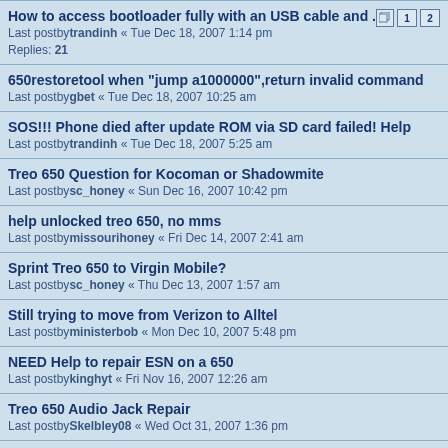How to access bootloader fully with an USB cable and ....
Last postbytrandinh « Tue Dec 18, 2007 1:14 pm
Replies: 21
650restoretool when "jump a1000000",return invalid command
Last postbygbet « Tue Dec 18, 2007 10:25 am
SOS!!! Phone died after update ROM via SD card failed! Help
Last postbytrandinh « Tue Dec 18, 2007 5:25 am
Treo 650 Question for Kocoman or Shadowmite
Last postbysc_honey « Sun Dec 16, 2007 10:42 pm
help unlocked treo 650, no mms
Last postbymissourihoney « Fri Dec 14, 2007 2:41 am
Sprint Treo 650 to Virgin Mobile?
Last postbysc_honey « Thu Dec 13, 2007 1:57 am
Still trying to move from Verizon to Alltel
Last postbyministerbob « Mon Dec 10, 2007 5:48 pm
NEED Help to repair ESN on a 650
Last postbykinghyt « Fri Nov 16, 2007 12:26 am
Treo 650 Audio Jack Repair
Last postbySkelbley08 « Wed Oct 31, 2007 1:36 pm
Need a ROM... thanks!
Last postbyfaheyd « Tue Oct 30, 2007 2:52 am
Replies: 1